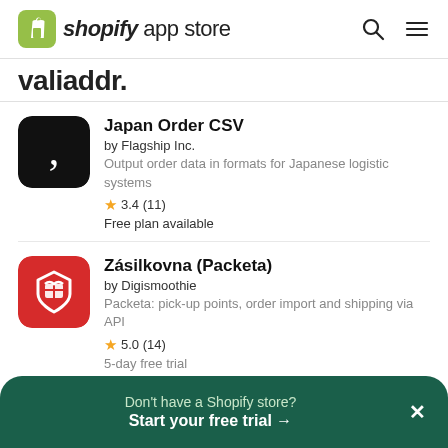shopify app store
valiaddr.
[Figure (logo): Japan Order CSV app icon: black rounded square with white comma/quotation mark]
Japan Order CSV
by Flagship Inc.
Output order data in formats for Japanese logistic systems
3.4 (11)
Free plan available
[Figure (logo): Zasilkovna (Packeta) app icon: red rounded square with white shield and box icon]
Zásilkovna (Packeta)
by Digismoothie
Packeta: pick-up points, order import and shipping via API
5.0 (14)
5-day free trial
[Figure (logo): Partial third app icon: gold/orange rounded square with green S logo]
by Shop Sappers
Don't have a Shopify store?
Start your free trial →